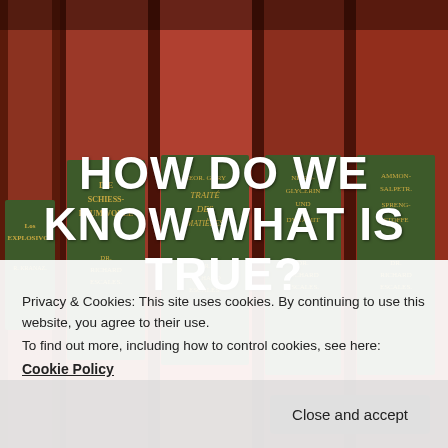[Figure (photo): Photograph of red leather-bound books on a shelf, showing spines with gold text including titles such as 'Los Explosivos', 'Die Schiess-Baumwolle', 'Traité des Matières', 'Nitro-Glycerin und Dynamit', 'Ammon-Salpeter-Spreng-Stoffe', by Dr. Richard Escales.]
HOW DO WE KNOW WHAT IS TRUE?
Privacy & Cookies: This site uses cookies. By continuing to use this website, you agree to their use.
To find out more, including how to control cookies, see here:
Cookie Policy
Close and accept